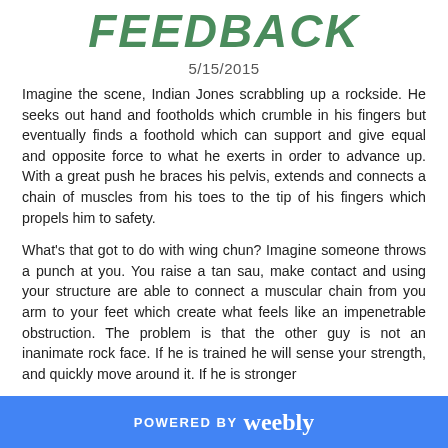FEEDBACK
5/15/2015
Imagine the scene, Indian Jones scrabbling up a rockside. He seeks out hand and footholds which crumble in his fingers but eventually finds a foothold which can support and give equal and opposite force to what he exerts in order to advance up. With a great push he braces his pelvis, extends and connects a chain of muscles from his toes to the tip of his fingers which propels him to safety.
What's that got to do with wing chun? Imagine someone throws a punch at you. You raise a tan sau, make contact and using your structure are able to connect a muscular chain from you arm to your feet which create what feels like an impenetrable obstruction. The problem is that the other guy is not an inanimate rock face. If he is trained he will sense your strength, and quickly move around it. If he is stronger
POWERED BY weebly